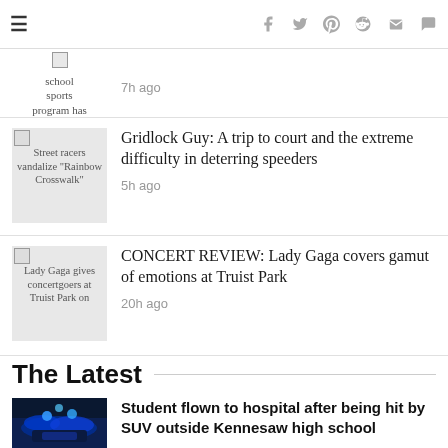Navigation header with hamburger menu and social icons: Facebook, Twitter, Pinterest, Reddit, Mail, Comment
school sports program has
7h ago
Street racers vandalize "Rainbow Crosswalk"
Gridlock Guy: A trip to court and the extreme difficulty in deterring speeders
5h ago
Lady Gaga gives concertgoers at Truist Park on
CONCERT REVIEW: Lady Gaga covers gamut of emotions at Truist Park
20h ago
The Latest
[Figure (photo): Police car with blue flashing lights at night]
Student flown to hospital after being hit by SUV outside Kennesaw high school